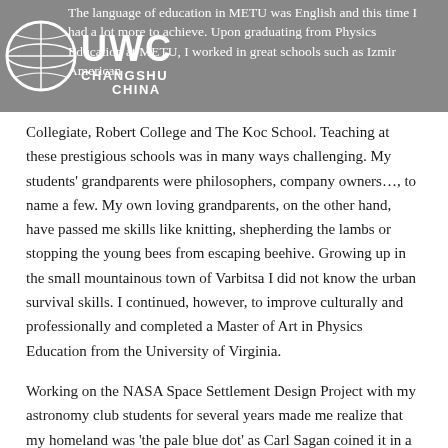The language of education in METU was English and this time I had a lot more to achieve. Upon graduating from Physics Education at METU, I worked in great schools such as Izmir American
[Figure (logo): UWC Changshu China logo with globe icon and text]
Collegiate, Robert College and The Koc School. Teaching at these prestigious schools was in many ways challenging. My students' grandparents were philosophers, company owners…, to name a few. My own loving grandparents, on the other hand, have passed me skills like knitting, shepherding the lambs or stopping the young bees from escaping beehive. Growing up in the small mountainous town of Varbitsa I did not know the urban survival skills. I continued, however, to improve culturally and professionally and completed a Master of Art in Physics Education from the University of Virginia.
Working on the NASA Space Settlement Design Project with my astronomy club students for several years made me realize that my homeland was 'the pale blue dot' as Carl Sagan coined it in a phrase. My new point of view was shifting against nationalism and against ethnocentrism.